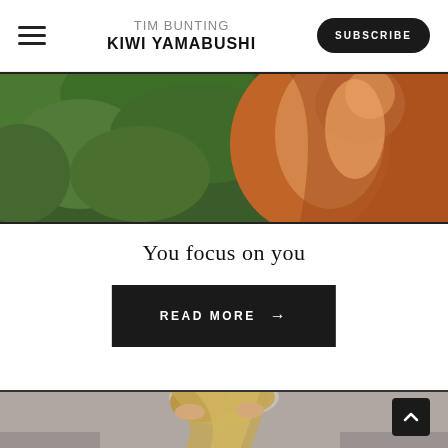TIM BUNTING KIWI YAMABUSHI | SUBSCRIBE
[Figure (photo): Close-up photo of a person in an orange/rust-colored robe with green foliage in the background, showing upper body and arm raised]
You focus on you
READ MORE →
[Figure (photo): Photo of a woman with blonde hair running her hands through her hair, against a grey background]